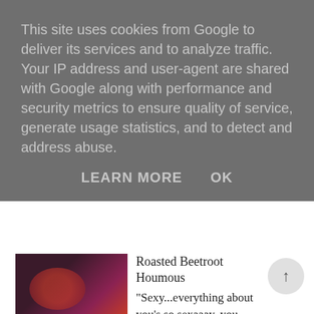This site uses cookies from Google to deliver its services and to analyze traffic. Your IP address and user-agent are shared with Google along with performance and security metrics to ensure quality of service, generate usage statistics, and to detect and address abuse.
LEARN MORE    OK
[Figure (photo): Thumbnail photo of roasted beetroot houmous dish in a bowl]
Roasted Beetroot Houmous
"Sexy...everything about you's so sexaaay, you don't even know what you got, you're really hitting my spot, oh yeah!&...
[Figure (photo): Thumbnail photo of a woman with long brown hair]
20 Things I learnt after quitting alcohol for 95 days
On January the 1st 2017,  I quit alcohol for 7 weeks  with the initial idea of quitting indefinitely. The